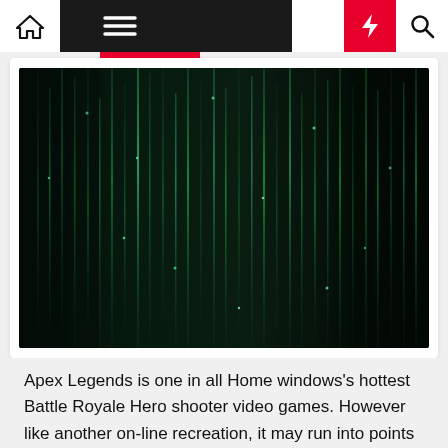Navigation bar with home, menu, dark mode, lightning, and search icons
[Figure (photo): Dark digital matrix / code rain background image with green glowing vertical streams of characters on a dark background]
Apex Legends is one in all Home windows's hottest Battle Royale Hero shooter video games. However like another on-line recreation, it may run into points now and again. One of many well-liked Apex